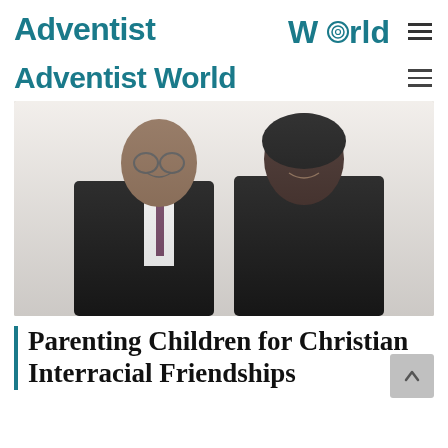Adventist World
[Figure (photo): Professional portrait photo of a man and woman smiling. The man is on the left wearing a black suit, white shirt, and dark tie with glasses. The woman is on the right wearing a black jacket over a floral top, with shoulder-length dark hair.]
Parenting Children for Christian Interracial Friendships